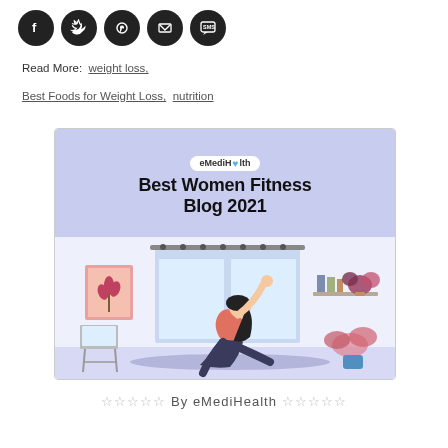[Figure (other): Row of 5 social media share icons (Facebook, Twitter, Pinterest, Email, SMS) as dark circles]
Read More:  weight loss,
Best Foods for Weight Loss,  nutrition
[Figure (illustration): eMediHealth Best Women Fitness Blog 2021 banner with a woman doing yoga/stretching pose in a home setting with plants and a laptop]
☆☆☆☆☆ By eMediHealth ☆☆☆☆☆